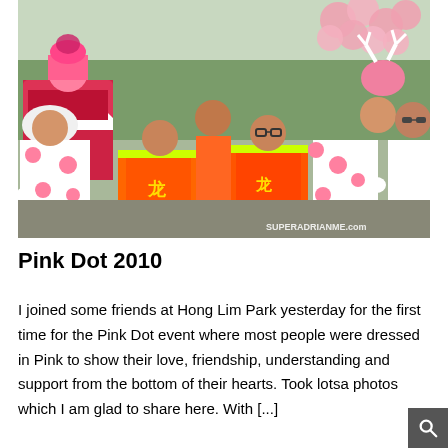[Figure (photo): Group photo of people in colorful costumes at Pink Dot 2010 event at Hong Lim Park. People are wearing pink, orange and white outfits, some with lion dance costumes and pink balloons. Watermark reads SUPERADRIANME.com in bottom right corner.]
Pink Dot 2010
I joined some friends at Hong Lim Park yesterday for the first time for the Pink Dot event where most people were dressed in Pink to show their love, friendship, understanding and support from the bottom of their hearts. Took lotsa photos which I am glad to share here. With [...]